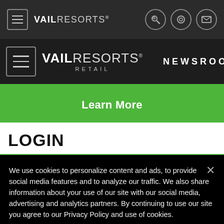[Figure (screenshot): Top navigation bar with hamburger menu icon, VAIL RESORTS logo in white/gray text, and three circular icons (key, search, envelope) on dark background]
[Figure (screenshot): Main navigation bar with large hamburger icon, VAIL RESORTS RETAIL logo, vertical divider, and NEWSROOM text on dark background]
[Figure (screenshot): Green Learn More button]
LOGIN
We use cookies to personalize content and ads, to provide social media features and to analyze our traffic. We also share information about your use of our site with our social media, advertising and analytics partners. By continuing to use our site you agree to our Privacy Policy and use of cookies.
Privacy Policy
OK